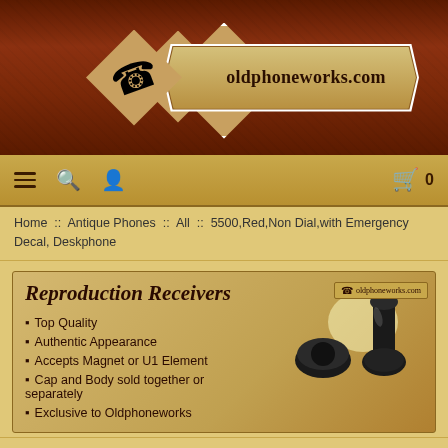[Figure (logo): oldphoneworks.com website logo with antique rotary telephone image inside a hexagonal badge and an arrow-shaped banner reading 'oldphoneworks.com']
Navigation bar with hamburger menu, search, user icons and shopping cart with 0 items
Home :: Antique Phones :: All :: 5500,Red,Non Dial,with Emergency Decal, Deskphone
[Figure (illustration): Advertisement banner for Reproduction Receivers showing antique telephone receivers with bullet points: Top Quality, Authentic Appearance, Accepts Magnet or U1 Element, Cap and Body sold together or separately, Exclusive to Oldphoneworks]
← Previous product  |  Next product →
5500,RED,NON DIAL,WITH EMERGENCY DECAL, DESKPHONE